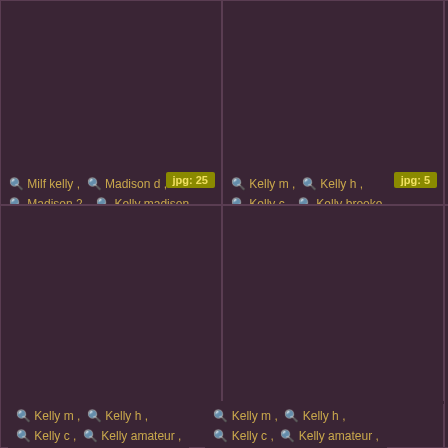[Figure (screenshot): Dark thumbnail image card with jpg:25 badge]
Milf kelly , Madison d , Madison 2 , Kelly madison ,
[Figure (screenshot): Dark thumbnail image card with jpg:5 badge]
Kelly m , Kelly h , Kelly c , Kelly brooke ,
[Figure (screenshot): Dark thumbnail image card (partial, right edge)]
Teen
[Figure (screenshot): Dark thumbnail image card with jpg:36 badge]
Kelly m , Kelly h , Kelly c , Kelly amateur ,
[Figure (screenshot): Dark thumbnail image card with jpg:18 badge]
Kelly m , Kelly h , Kelly c , Kelly amateur ,
[Figure (screenshot): Dark thumbnail image card (partial, right edge)]
Osb Kelly